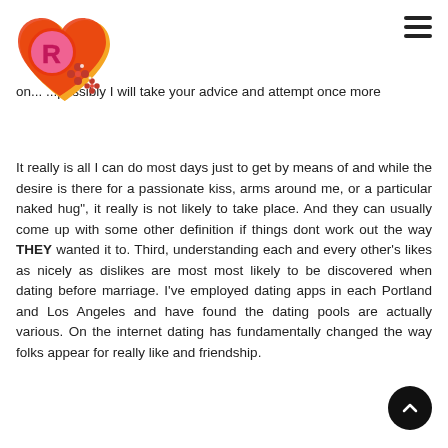[Figure (logo): Website logo: orange/red heart shape with a pink letter R inside a circular badge, decorated with red poinsettia flowers]
on... ...possibly I will take your advice and attempt once more
It really is all I can do most days just to get by means of and while the desire is there for a passionate kiss, arms around me, or a particular naked hug", it really is not likely to take place. And they can usually come up with some other definition if things dont work out the way THEY wanted it to. Third, understanding each and every other's likes as nicely as dislikes are most most likely to be discovered when dating before marriage. I've employed dating apps in each Portland and Los Angeles and have found the dating pools are actually various. On the internet dating has fundamentally changed the way folks appear for really like and friendship.